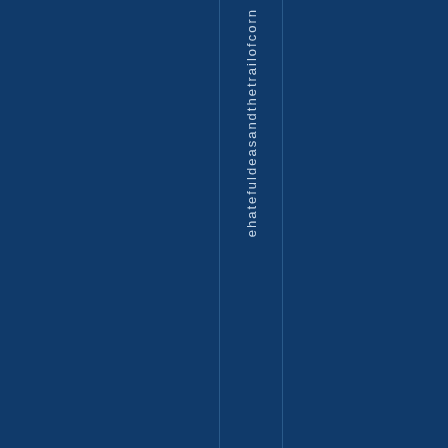[Figure (other): Dark navy blue background page with two thin vertical lines dividing the page into columns. In the middle column, vertical text reads 'ehatefuldeasandthetrailofcorn' arranged letter by letter reading downward.]